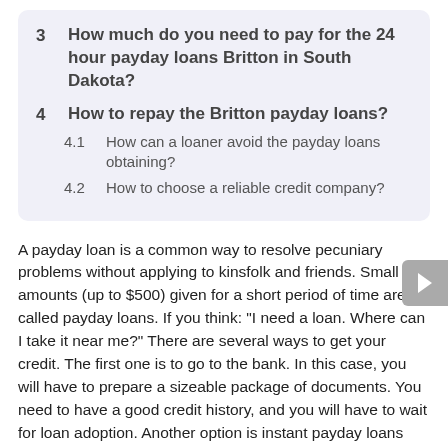3  How much do you need to pay for the 24 hour payday loans Britton in South Dakota?
4  How to repay the Britton payday loans?
4.1  How can a loaner avoid the payday loans obtaining?
4.2  How to choose a reliable credit company?
A payday loan is a common way to resolve pecuniary problems without applying to kinsfolk and friends. Small amounts (up to $500) given for a short period of time are called payday loans. If you think: "I need a loan. Where can I take it near me?" There are several ways to get your credit. The first one is to go to the bank. In this case, you will have to prepare a sizeable package of documents. You need to have a good credit history, and you will have to wait for loan adoption. Another option is instant payday loans